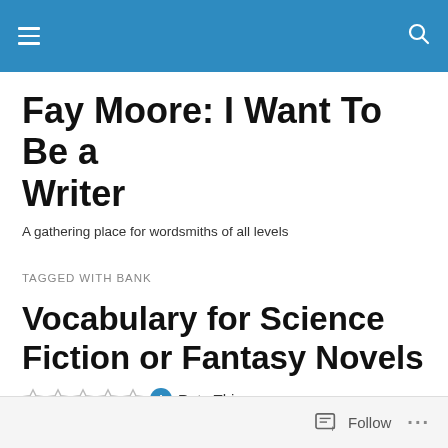Fay Moore: I Want To Be a Writer
A gathering place for wordsmiths of all levels
TAGGED WITH BANK
Vocabulary for Science Fiction or Fantasy Novels
Rate This
Follow ...